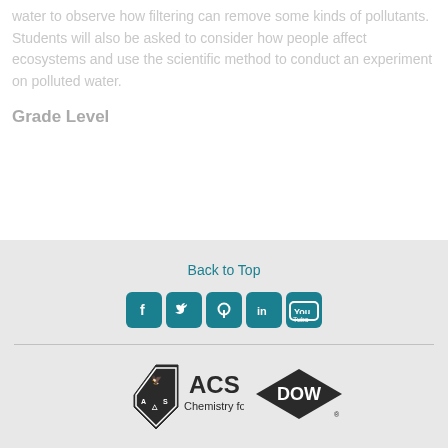water to observe how filtering can remove some kinds of pollutants. Students will also be asked to consider how people affect ecosystems and use the scientific method to conduct an experiment on polluted water.
Grade Level
Back to Top [social icons: Facebook, Twitter, Pinterest, LinkedIn, YouTube] [ACS Chemistry for Life logo] [DOW logo]